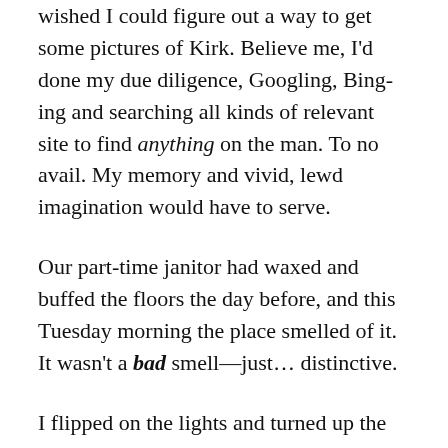wished I could figure out a way to get some pictures of Kirk. Believe me, I'd done my due diligence, Googling, Bing-ing and searching all kinds of relevant site to find anything on the man. To no avail. My memory and vivid, lewd imagination would have to serve.
Our part-time janitor had waxed and buffed the floors the day before, and this Tuesday morning the place smelled of it. It wasn't a bad smell—just… distinctive.
I flipped on the lights and turned up the thermostat, getting right to work. I woke up my desk computer and set my laptop on the credenza behind the desk. My regular-routine actions totally belied my state of mind: